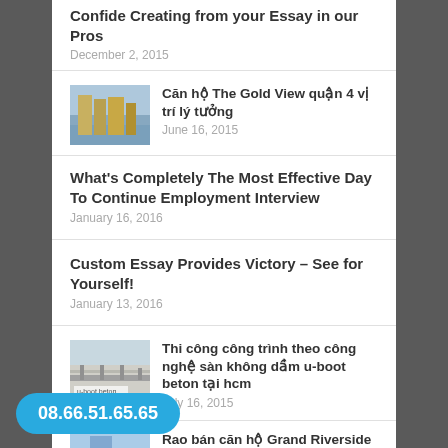Confide Creating from your Essay in our Pros
December 2, 2015
[Figure (photo): Thumbnail of The Gold View building]
Căn hộ The Gold View quận 4 vị trí lý tưởng
June 16, 2015
What's Completely The Most Effective Day To Continue Employment Interview
January 16, 2016
Custom Essay Provides Victory – See for Yourself!
January 13, 2016
[Figure (photo): Thumbnail of u-boot beton construction]
Thi công công trình theo công nghệ sàn không dầm u-boot beton tại hcm
July 16, 2015
[Figure (photo): Thumbnail of Grand Riverside building]
Rao bán căn hộ Grand Riverside quận 4 giá rẻ
June 10, 2015
08.66.51.65.65